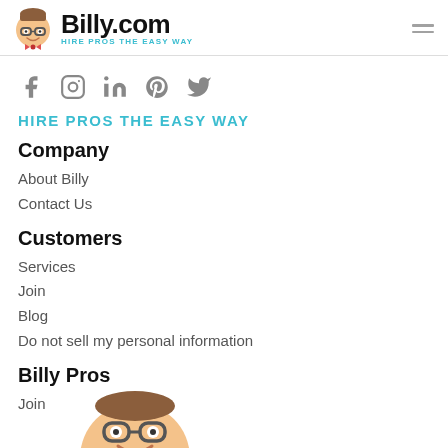Billy.com — HIRE PROS THE EASY WAY
[Figure (logo): Billy.com logo with cartoon mascot character wearing glasses and bow tie, text 'Billy.com' in bold black, tagline 'HIRE PROS THE EASY WAY' in teal]
[Figure (illustration): Social media icons row: Facebook, Instagram, LinkedIn, Pinterest, Twitter — in gray]
HIRE PROS THE EASY WAY
Company
About Billy
Contact Us
Customers
Services
Join
Blog
Do not sell my personal information
Billy Pros
Join
[Figure (illustration): Cartoon mascot character (Billy) with glasses and smiling, partial view at bottom of page]